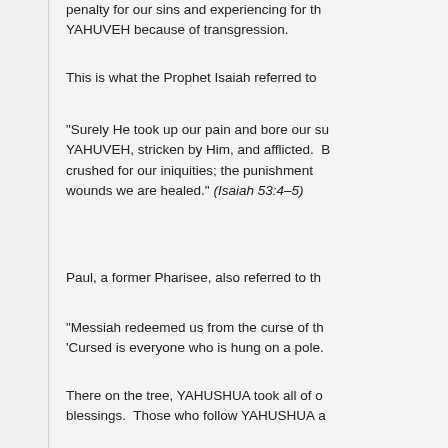penalty for our sins and experiencing for the YAHUVEH because of transgression.
This is what the Prophet Isaiah referred to
“Surely He took up our pain and bore our su YAHUVEH, stricken by Him, and afflicted.  B crushed for our iniquities; the punishment wounds we are healed.” (Isaiah 53:4–5)
Paul, a former Pharisee, also referred to th
“Messiah redeemed us from the curse of th ‘Cursed is everyone who is hung on a pole.
There on the tree, YAHUSHUA took all of d blessings. Those who follow YAHUSHUA a